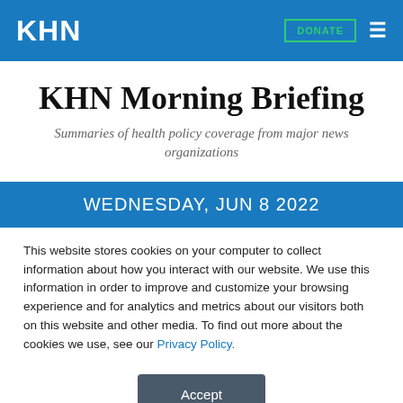KHN | DONATE | ≡
KHN Morning Briefing
Summaries of health policy coverage from major news organizations
WEDNESDAY, JUN 8 2022
This website stores cookies on your computer to collect information about how you interact with our website. We use this information in order to improve and customize your browsing experience and for analytics and metrics about our visitors both on this website and other media. To find out more about the cookies we use, see our Privacy Policy.
Accept